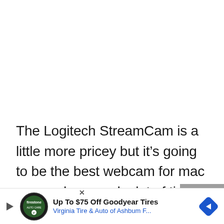The Logitech StreamCam is a little more pricey but it's going to be the best webcam for mac users who spend a lot of time creating content online. It's perfect for YouTuber's and it comes with its own software; Logitech Capture which offers a range of tools like the ability to record with two c...
[Figure (other): Advertisement banner: Up To $75 Off Goodyear Tires - Virginia Tire & Auto of Ashburn F... with Firestone Auto Care logo and blue navigation arrow diamond icon]